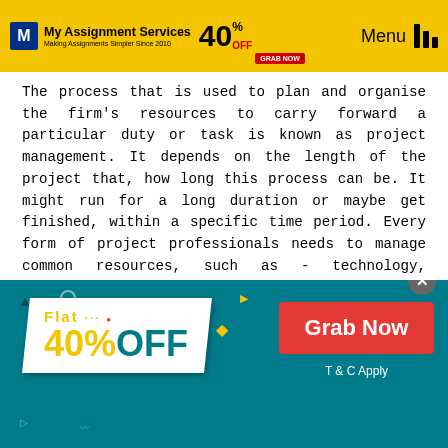My Assignment Services — Making Assignments Simpler Since 2010 — 40% OFF GRAB NOW — Menu
The process that is used to plan and organise the firm's resources to carry forward a particular duty or task is known as project management. It depends on the length of the project that, how long this process can be. It might run for a long duration or maybe get finished, within a specific time period. Every form of project professionals needs to manage common resources, such as - technology, finance, intellectual property, and human resource. Project management is required in every industry, whether it be
[Figure (infographic): Promotional banner: Flat 40% OFF — Grab Now button — T & C Apply, on teal background]